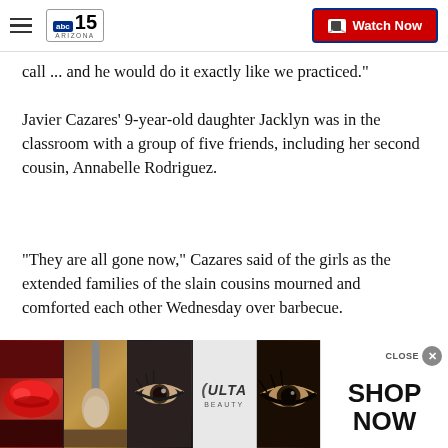abc15 ARIZONA — Watch Now
call ... and he would do it exactly like we practiced."
Javier Cazares' 9-year-old daughter Jacklyn was in the classroom with a group of five friends, including her second cousin, Annabelle Rodriguez.
"They are all gone now," Cazares said of the girls as the extended families of the slain cousins mourned and comforted each other Wednesday over barbecue.
Cazares described his daughter as a "firecracker" w
[Figure (screenshot): Ulta Beauty advertisement banner with makeup/beauty images and 'SHOP NOW' call to action]